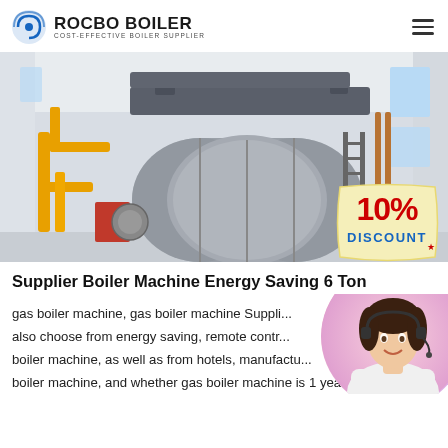ROCBO BOILER — COST-EFFECTIVE BOILER SUPPLIER
[Figure (photo): Industrial gas boiler machine in a white-walled facility with yellow pipes on the left, with a '10% DISCOUNT' badge overlay in the bottom-right corner]
Supplier Boiler Machine Energy Saving 6 Ton
gas boiler machine, gas boiler machine Suppli... also choose from energy saving, remote contr... boiler machine, as well as from hotels, manufactu... boiler machine, and whether gas boiler machine is 1 year, 2 year...